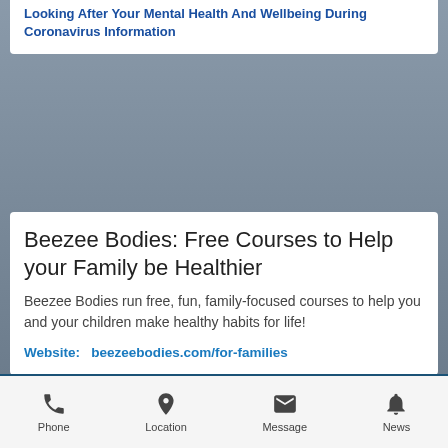Looking After Your Mental Health And Wellbeing During Coronavirus Information
Beezee Bodies: Free Courses to Help your Family be Healthier
Beezee Bodies run free, fun, family-focused courses to help you and your children make healthy habits for life!
Website:   beezeebodies.com/for-families
Moving with Special Needs Kids
Moving is at once stressful and exciting. When you are
Phone  Location  Message  News